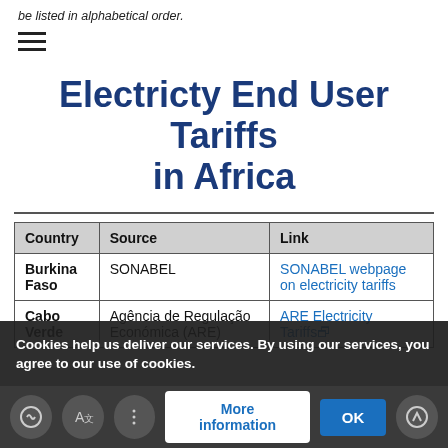be listed in alphabetical order.
[Figure (other): Hamburger menu icon (three horizontal lines)]
Electricty End User Tariffs in Africa
| Country | Source | Link |
| --- | --- | --- |
| Burkina Faso | SONABEL | SONABEL webpage on electricity tariffs |
| Cabo Verde | Agência de Regulação Económica (ARE) | ARE Electricity Tariffs |
Cookies help us deliver our services. By using our services, you agree to our use of cookies.